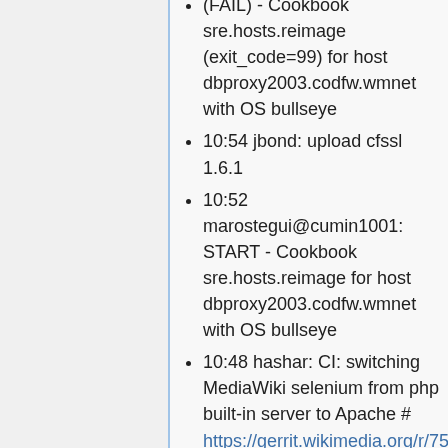(FAIL) - Cookbook sre.hosts.reimage (exit_code=99) for host dbproxy2003.codfw.wmnet with OS bullseye
10:54 jbond: upload cfssl 1.6.1
10:52 marostegui@cumin1001: START - Cookbook sre.hosts.reimage for host dbproxy2003.codfw.wmnet with OS bullseye
10:48 hashar: CI: switching MediaWiki selenium from php built-in server to Apache # https://gerrit.wikimedia.org/r/751697
10:40 aokoth@cumin1001: END (PASS) - Cookbook sre.dns.netbox (exit_code=0)
10:37 aokoth@cumin1001: START - Cookbook sre.dns.netbox